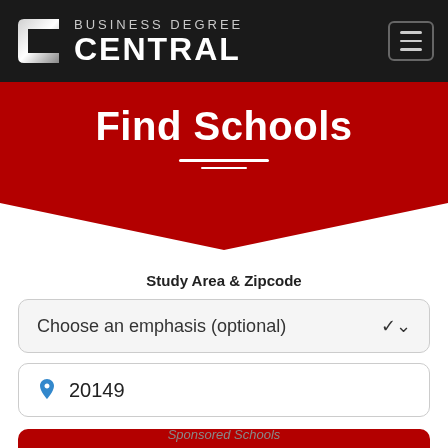[Figure (logo): Business Degree Central logo with stylized C icon and site name in white on dark background, plus hamburger menu button]
Find Schools
Study Area & Zipcode
Choose an emphasis (optional)
20149
Search Colleges
Sponsored Schools